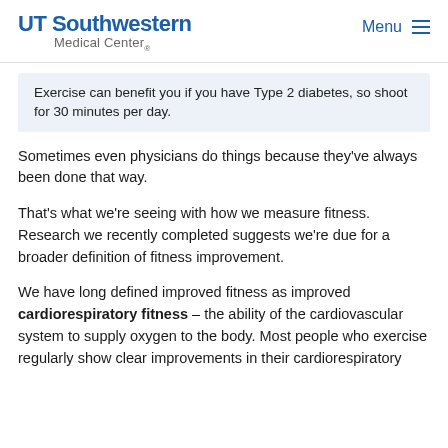UT Southwestern Medical Center. Menu
Exercise can benefit you if you have Type 2 diabetes, so shoot for 30 minutes per day.
Sometimes even physicians do things because they’ve always been done that way.
That’s what we’re seeing with how we measure fitness. Research we recently completed suggests we’re due for a broader definition of fitness improvement.
We have long defined improved fitness as improved cardiorespiratory fitness – the ability of the cardiovascular system to supply oxygen to the body. Most people who exercise regularly show clear improvements in their cardiorespiratory